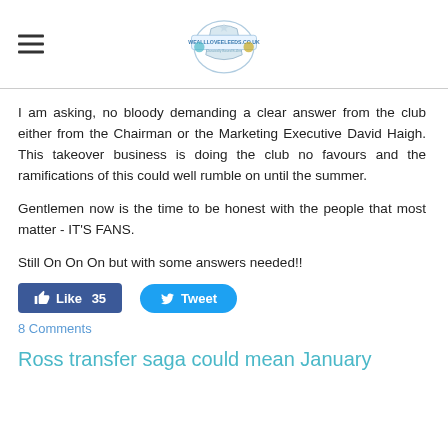weallloveLeeds.co.uk
I am asking, no bloody demanding a clear answer from the club either from the Chairman or the Marketing Executive David Haigh. This takeover business is doing the club no favours and the ramifications of this could well rumble on until the summer.
Gentlemen now is the time to be honest with the people that most matter - IT'S FANS.
Still On On On but with some answers needed!!
[Figure (infographic): Facebook Like button (35 likes) and Twitter Tweet button]
8 Comments
Ross transfer saga could mean January